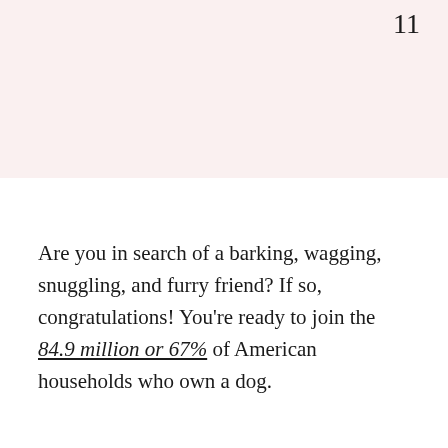11
Are you in search of a barking, wagging, snuggling, and furry friend? If so, congratulations! You're ready to join the 84.9 million or 67% of American households who own a dog.